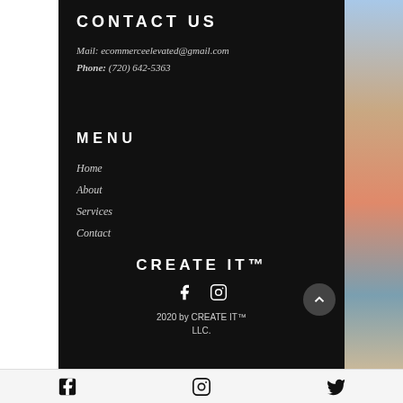CONTACT US
Mail: ecommerceelevated@gmail.com
Phone: (720) 642-5363
MENU
Home
About
Services
Contact
CREATE IT™
2020 by CREATE IT™ LLC.
Facebook | Instagram | Twitter icons